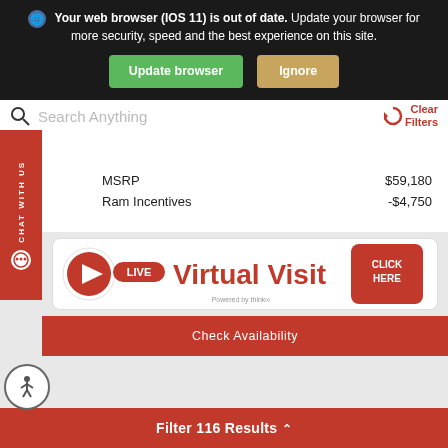Your web browser (IOS 11) is out of date. Update your browser for more security, speed and the best experience on this site.
Update browser | Ignore
Search Anything
Clear Filters
CHAT WITH US
| MSRP | $59,180 |
| Ram Incentives | -$4,750 |
[Figure (screenshot): LIVE Virtual Visit - Click Here banner with red play button icon and red click here badge]
Check Availability
Filter 116 Results ^